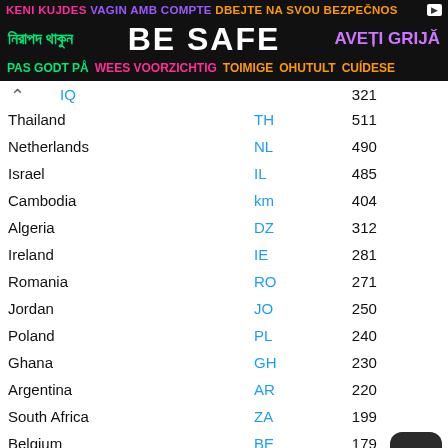[Figure (other): Multilingual safety banner with text in multiple languages and colors: 'KENI KUJDES VAGIN AMB COMPTE DBEJTE NA SVOU BEZPECNOS', 'নিরাপদ থাকুন BE SAFE AVEȚI GRIJĂ', 'PAS GODT PÅ WEES VOORZICHTIG TOIMIGE OHUTULT CUÍDESE']
| Country | Code | Count |
| --- | --- | --- |
| IQ |  | 321 |
| Thailand | TH | 511 |
| Netherlands | NL | 490 |
| Israel | IL | 485 |
| Cambodia | km | 404 |
| Algeria | DZ | 312 |
| Ireland | IE | 281 |
| Romania | RO | 271 |
| Jordan | JO | 250 |
| Poland | PL | 240 |
| Ghana | GH | 230 |
| Argentina | AR | 220 |
| South Africa | ZA | 199 |
| Belgium | BE | 179 |
| Czechia | CZ | 163 |